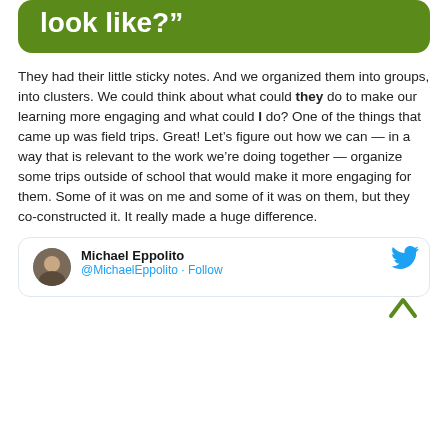[Figure (other): Green rounded rectangle box with partial quote text in white: 'look like?']
They had their little sticky notes. And we organized them into groups, into clusters. We could think about what could they do to make our learning more engaging and what could I do? One of the things that came up was field trips. Great! Let’s figure out how we can — in a way that is relevant to the work we’re doing together — organize some trips outside of school that would make it more engaging for them. Some of it was on me and some of it was on them, but they co-constructed it. It really made a huge difference.
[Figure (screenshot): Tweet card by Michael Eppolito (@MichaelEppolito) with Follow button and Twitter bird logo. Avatar shows a person's photo.]